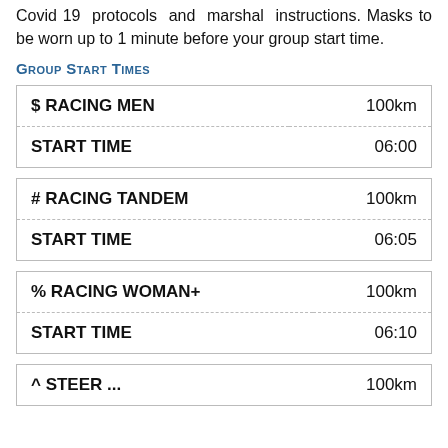Covid 19 protocols and marshal instructions. Masks to be worn up to 1 minute before your group start time.
Group Start Times
| $ RACING MEN | 100km |
| START TIME | 06:00 |
| # RACING TANDEM | 100km |
| START TIME | 06:05 |
| % RACING WOMAN+ | 100km |
| START TIME | 06:10 |
| ^ STEER ... | 100km |